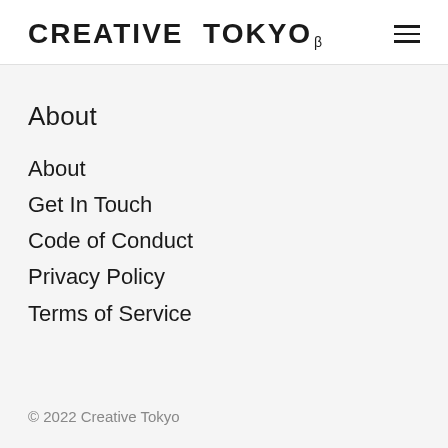CREATIVE TOKYO β
About
About
Get In Touch
Code of Conduct
Privacy Policy
Terms of Service
© 2022 Creative Tokyo